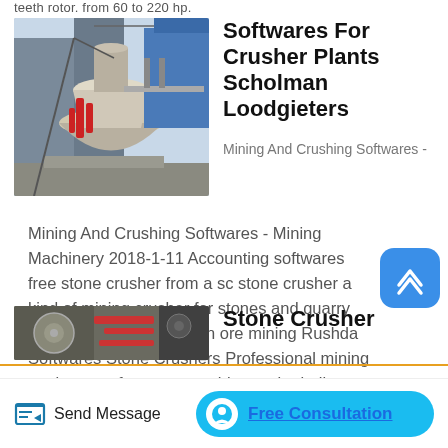teeth rotor. from 60 to 220 hp.
[Figure (photo): Industrial crusher/cone crusher machinery at a plant site]
Softwares For Crusher Plants Scholman Loodgieters
Mining And Crushing Softwares - Mining Machinery 2018-1-11 Accounting softwares free stone crusher from a sc stone crusher a kind of mining crusher for stones and quarry stone crushing plants can ore mining Rushda Softwares Stone Crushers Professional mining equipments for stone crushing and grinding at Mining Chat Online Cleanse Drops America s 1 Kidney Stones.
[Figure (photo): Stone crusher machinery close-up]
Stone Crusher
Send Message
Free Consultation